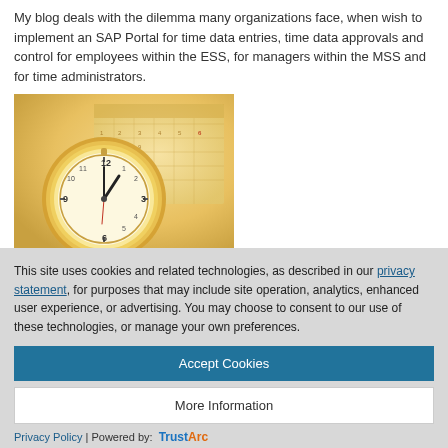My blog deals with the dilemma many organizations face, when wish to implement an SAP Portal for time data entries, time data approvals and control for employees within the ESS, for managers within the MSS and for time administrators.
[Figure (photo): A golden pocket watch resting on a calendar, warm golden tones]
This site uses cookies and related technologies, as described in our privacy statement, for purposes that may include site operation, analytics, enhanced user experience, or advertising. You may choose to consent to our use of these technologies, or manage your own preferences.
Accept Cookies
More Information
Privacy Policy | Powered by: TrustArc